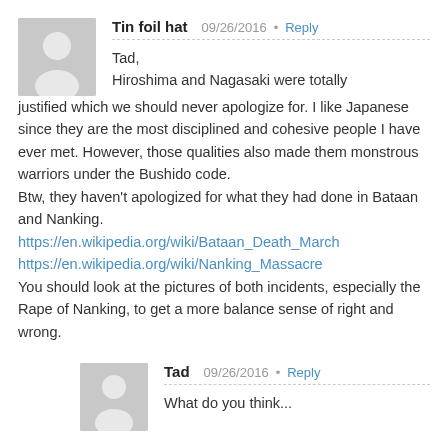Tin foil hat   09/26/2016 • Reply
Tad,
Hiroshima and Nagasaki were totally justified which we should never apologize for. I like Japanese since they are the most disciplined and cohesive people I have ever met. However, those qualities also made them monstrous warriors under the Bushido code.
Btw, they haven't apologized for what they had done in Bataan and Nanking.
https://en.wikipedia.org/wiki/Bataan_Death_March
https://en.wikipedia.org/wiki/Nanking_Massacre
You should look at the pictures of both incidents, especially the Rape of Nanking, to get a more balance sense of right and wrong.
Tad   09/26/2016 • Reply
What do you think...